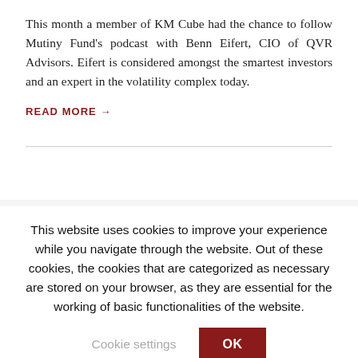This month a member of KM Cube had the chance to follow Mutiny Fund's podcast with Benn Eifert, CIO of QVR Advisors. Eifert is considered amongst the smartest investors and an expert in the volatility complex today.
READ MORE →
This website uses cookies to improve your experience while you navigate through the website. Out of these cookies, the cookies that are categorized as necessary are stored on your browser, as they are essential for the working of basic functionalities of the website.
Cookie settings
OK